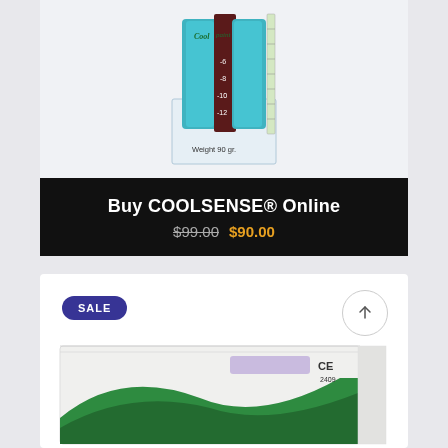[Figure (photo): Product photo of COOLSENSE device - a cryotherapy applicator in a clear plastic package showing temperature scale markings (-6, -8, -10, -12) with teal/blue colored components and 'Weight 90 gr.' label]
Buy COOLSENSE® Online
$99.00  $90.00
[Figure (photo): Second product card showing a white box with green wave design, CE 2409 marking, and a purple/lavender colored label area. SALE badge visible.]